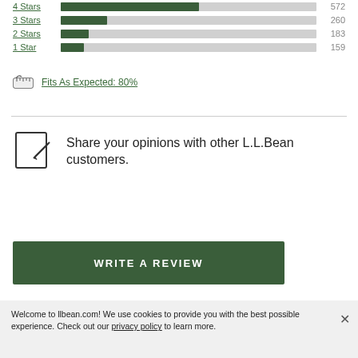[Figure (bar-chart): Star rating distribution]
Fits As Expected: 80%
Share your opinions with other L.L.Bean customers.
WRITE A REVIEW
Welcome to llbean.com! We use cookies to provide you with the best possible experience. Check out our privacy policy to learn more.